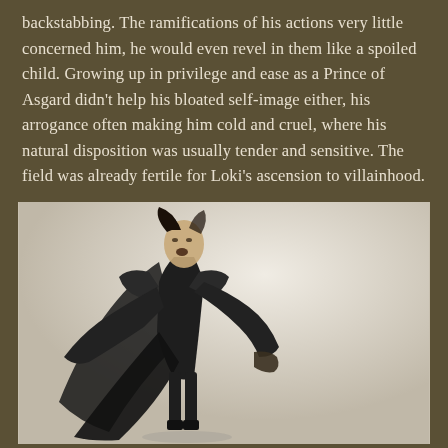backstabbing. The ramifications of his actions very little concerned him, he would even revel in them like a spoiled child. Growing up in privilege and ease as a Prince of Asgard didn't help his bloated self-image either, his arrogance often making him cold and cruel, where his natural disposition was usually tender and sensitive. The field was already fertile for Loki's ascension to villainhood.
[Figure (illustration): Black and white illustration of Loki, dressed in dark armor with a long cape, mouth open in a shout, arms outstretched dramatically.]